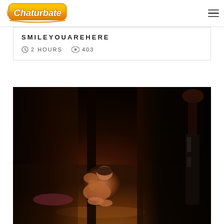[Figure (logo): Chaturbate logo in orange and yellow graffiti style lettering]
SMILEYOUAREHERE
⏱ 2 HOURS  👁 403
[Figure (photo): A person sitting curled up on a wooden floor in a dark room, next to a large black cylindrical object, with dim stage lighting]